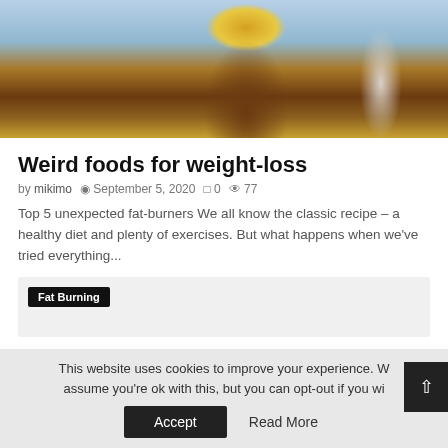[Figure (photo): Hero image showing coffee drinks in glasses on a blue surface]
Weird foods for weight-loss
by mikimo  September 5, 2020  0  77
Top 5 unexpected fat-burners We all know the classic recipe – a healthy diet and plenty of exercises. But what happens when we've tried everything...
Fat Burning
This website uses cookies to improve your experience. We assume you're ok with this, but you can opt-out if you wi...
Accept
Read More